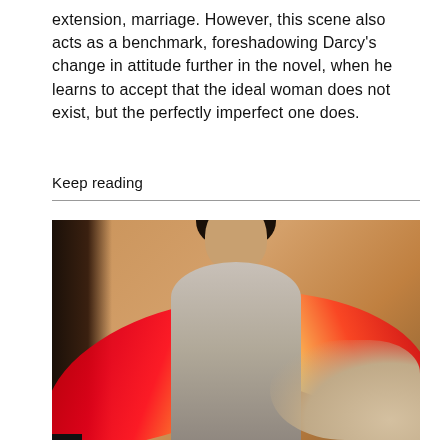extension, marriage. However, this scene also acts as a benchmark, foreshadowing Darcy's change in attitude further in the novel, when he learns to accept that the ideal woman does not exist, but the perfectly imperfect one does.
Keep reading
[Figure (photo): A young woman with glasses and long dark hair wearing a grey striped dress, holding a red and yellow fabric/scarf spread wide with both arms outstretched, standing in front of a warm beige/tan background with sandy sculptural forms on the right.]